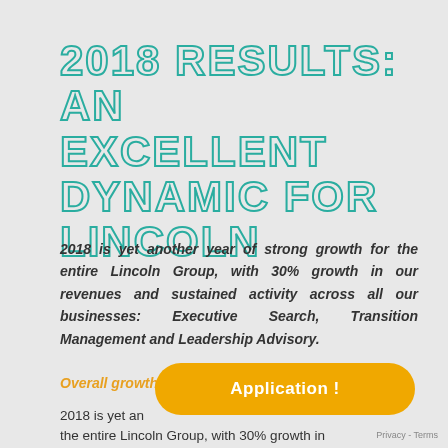2018 RESULTS: AN EXCELLENT DYNAMIC FOR LINCOLN
2018 is yet another year of strong growth for the entire Lincoln Group, with 30% growth in our revenues and sustained activity across all our businesses: Executive Search, Transition Management and Leadership Advisory.
Overall growth of the Lincoln Group by 30%
2018 is yet another year of strong growth for the entire Lincoln Group, with 30% growth in